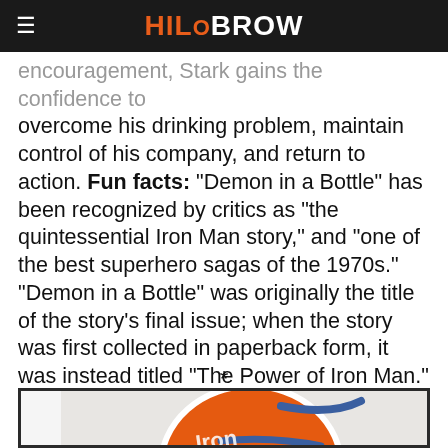HiloBrow
encouragement, Stark gains the confidence to overcome his drinking problem, maintain control of his company, and return to action. Fun facts: “Demon in a Bottle” has been recognized by critics as “the quintessential Iron Man story,” and “one of the best superhero sagas of the 1970s.” “Demon in a Bottle” was originally the title of the story’s final issue; when the story was first collected in paperback form, it was instead titled “The Power of Iron Man.”
*
[Figure (photo): Partial view of a comic book or paperback cover featuring an orange circular Iron Man logo design with stylized text, against a light background, framed with a dark border.]